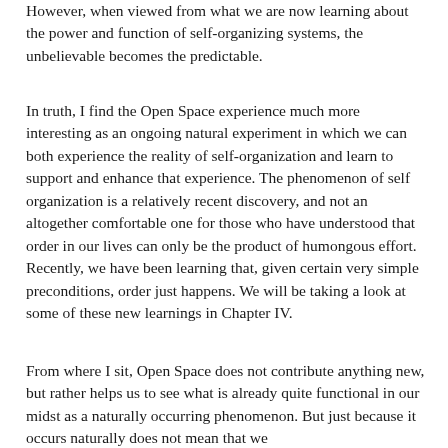However, when viewed from what we are now learning about the power and function of self-organizing systems, the unbelievable becomes the predictable.
In truth, I find the Open Space experience much more interesting as an ongoing natural experiment in which we can both experience the reality of self-organization and learn to support and enhance that experience. The phenomenon of self organization is a relatively recent discovery, and not an altogether comfortable one for those who have understood that order in our lives can only be the product of humongous effort. Recently, we have been learning that, given certain very simple preconditions, order just happens. We will be taking a look at some of these new learnings in Chapter IV.
From where I sit, Open Space does not contribute anything new, but rather helps us to see what is already quite functional in our midst as a naturally occurring phenomenon. But just because it occurs naturally does not mean that we...